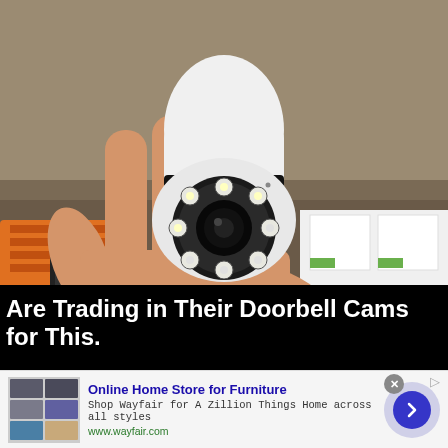[Figure (photo): A hand holding a small white smart security camera (bulb-style PTZ camera) with a round lens and ring of LED lights on the front. Background shows a wooden surface, orange object, and white product boxes.]
Are Trading in Their Doorbell Cams for This.
[Figure (infographic): Advertisement banner for Wayfair. Shows thumbnail of furniture/home store products on left, ad title 'Online Home Store for Furniture', description text, wayfair.com URL, and a blue circular arrow button on the right. Has a close (x) button and ad badge icon.]